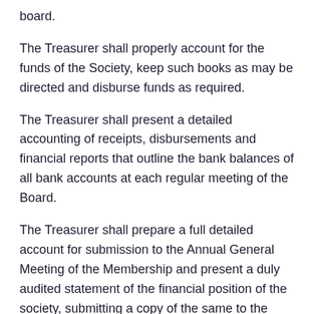board.
The Treasurer shall properly account for the funds of the Society, keep such books as may be directed and disburse funds as required.
The Treasurer shall present a detailed accounting of receipts, disbursements and financial reports that outline the bank balances of all bank accounts at each regular meeting of the Board.
The Treasurer shall prepare a full detailed account for submission to the Annual General Meeting of the Membership and present a duly audited statement of the financial position of the society, submitting a copy of the same to the Secretary for the record of the Society
The signing authorities of the financial accounts will be a